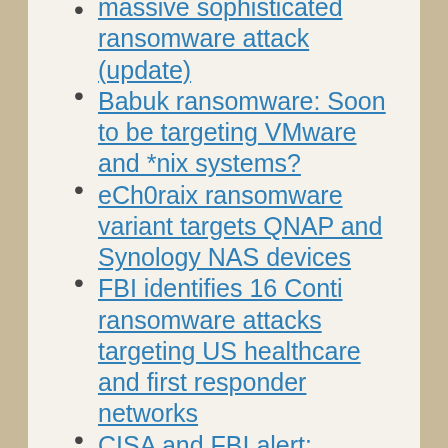massive sophisticated ransomware attack (update)
Babuk ransomware: Soon to be targeting VMware and *nix systems?
eCh0raix ransomware variant targets QNAP and Synology NAS devices
FBI identifies 16 Conti ransomware attacks targeting US healthcare and first responder networks
CISA and FBI alert: DarkSide ransomware used in Colonial Pipeline cyberattack (and mitigation guidance) – updated
FBI warns of PYSA Ransomware